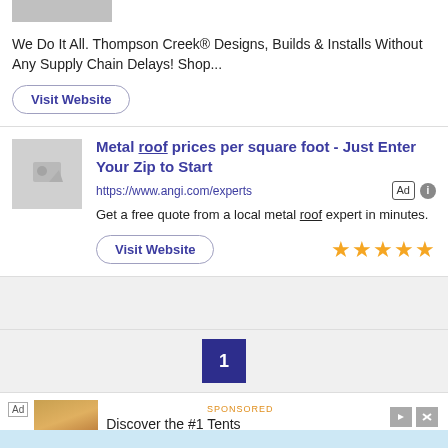We Do It All. Thompson Creek® Designs, Builds & Installs Without Any Supply Chain Delays! Shop...
Visit Website
Metal roof prices per square foot - Just Enter Your Zip to Start
https://www.angi.com/experts
Get a free quote from a local metal roof expert in minutes.
Visit Website
1
Ad Discover the #1 Tents CanvasCamp Shop Now